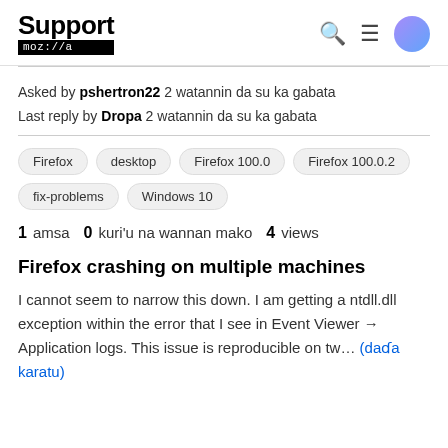Support mozilla//a
Asked by pshertron22 2 watannin da su ka gabata
Last reply by Dropa 2 watannin da su ka gabata
Firefox
desktop
Firefox 100.0
Firefox 100.0.2
fix-problems
Windows 10
1 amsa  0 kuri'u na wannan mako  4 views
Firefox crashing on multiple machines
I cannot seem to narrow this down. I am getting a ntdll.dll exception within the error that I see in Event Viewer → Application logs. This issue is reproducible on tw... (daɗa karatu)